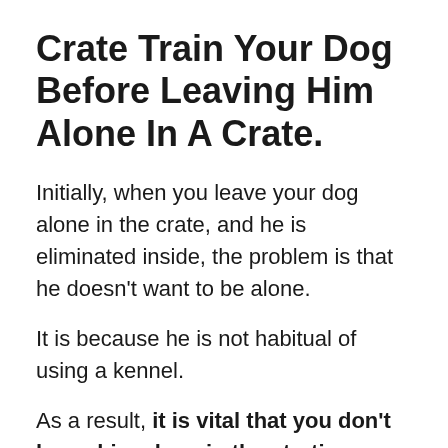Crate Train Your Dog Before Leaving Him Alone In A Crate.
Initially, when you leave your dog alone in the crate, and he is eliminated inside, the problem is that he doesn't want to be alone.
It is because he is not habitual of using a kennel.
As a result, it is vital that you don't leave him alone in the starting phase